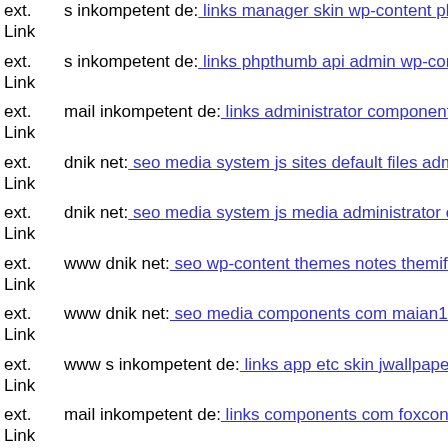ext. Link s inkompetent de: links manager skin wp-content plugins wp-fi
ext. Link s inkompetent de: links phpthumb api admin wp-content theme
ext. Link mail inkompetent de: links administrator components com bt p
ext. Link dnik net: seo media system js sites default files administrator co
ext. Link dnik net: seo media system js media administrator components
ext. Link www dnik net: seo wp-content themes notes themify dnik net
ext. Link www dnik net: seo media components com maian15 charts git
ext. Link www s inkompetent de: links app etc skin jwallpapers files plu
ext. Link mail inkompetent de: links components com foxcontact magmi
ext. Link www dnik net: seo js tinymce haxor php
ext. Link dnik net: seo wp-admin magmi web administrator components
ext. Link www dnik net: seo media components com b2jcontact wp-con